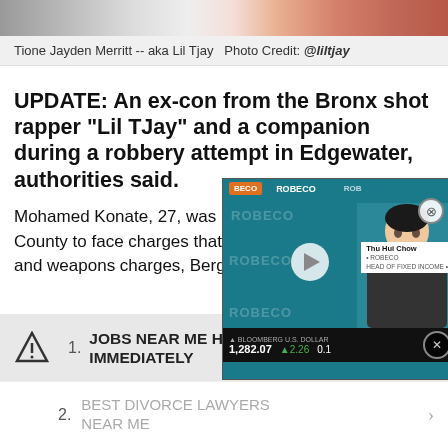[Figure (photo): Partial image strip at top of page showing a person in colorful clothing]
Tione Jayden Merritt -- aka Lil Tjay  Photo Credit: @liltjay
UPDATE: An ex-con from the Bronx shot rapper “Lil TJay” and a companion during a robbery attempt in Edgewater, authorities said.
Mohamed Konate, 27, was being held pending extradition to Bergen County to face charges that include attempted murder, armed robbery and weapons charges, Bergen C... Musella announced Wedne...
[Figure (screenshot): Video overlay showing BECO/ROBECO branded financial video with woman presenter, ticker showing 1,282.07 with change +2.26, and play button]
1. JOBS NEAR ME HI... IMMEDIATELY
2. BEST DIVORCE LAWYERS NEAR ME